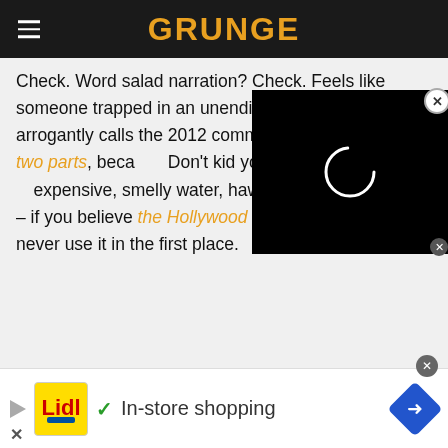GRUNGE
Check. Word salad narration? Check. Feels like someone trapped in an unending nightm[are who] arrogantly calls the 2012 comm[ercial and] released it in two parts, beca[use...] Don't kid yourselves, Chanel: th[is is] expensive, smelly water, hawked by someone who – if you believe the Hollywood grapevine – would never use it in the first place.
[Figure (screenshot): Black video player overlay with white loading spinner circle in the center, and a close button (X) in the top right corner.]
[Figure (screenshot): Advertisement banner for Lidl showing a yellow Lidl logo box with a bottle, a play button, checkmark, 'In-store shopping' text, and a blue diamond arrow icon on the right.]